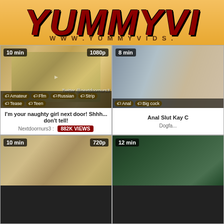YUMMYVI... www.yummyvids.
[Figure (screenshot): Video thumbnail: three young people on a couch, 10 min, 1080p, tags: Amateur, Ffm, Russian, Strip, Tease, Teen]
I'm your naughty girl next door! Shhh... don't tell!
Nextdoornurs3: 882K VIEWS
[Figure (screenshot): Video thumbnail: woman in colorful shirt, 8 min, tags: Anal, Big cock]
Anal Slut Kay C...
Dogfa...
[Figure (screenshot): Video thumbnail: group of people laughing, 10 min, 720p]
[Figure (screenshot): Video thumbnail: dark green foliage, 12 min]